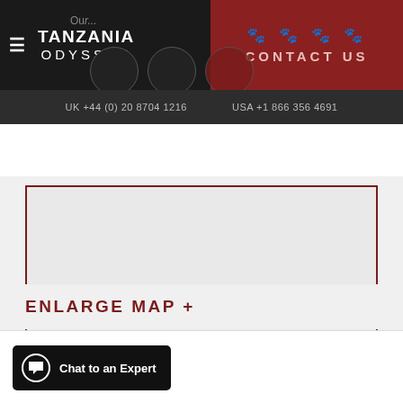TANZANIA ODYSSEY
CONTACT US
UK +44 (0) 20 8704 1216   USA +1 866 356 4691
[Figure (map): Empty map placeholder box with dark red border]
ENLARGE MAP +
Chat to an Expert